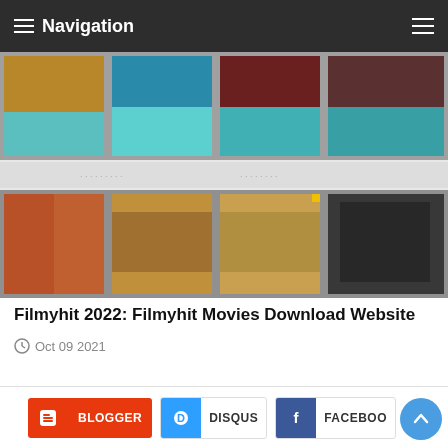≡ Navigation
[Figure (screenshot): A grid of movie poster thumbnails showing two rows of 4 partially visible movie posters. Top row shows colorful movie covers with teal/cyan accents. Bottom row shows darker movie posters. The grid appears to be from Filmyhit movies download website.]
Filmyhit 2022: Filmyhit Movies Download Website
Oct 09 2021
BLOGGER  DISQUS  FACEBOOK